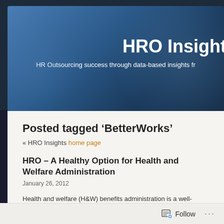HRO Insights
HR Outsourcing success through data-based insights fr...
Posted tagged ‘BetterWorks’
« HRO Insights home page
HRO – A Healthy Option for Health and Welfare Administration
January 26, 2012
Health and welfare (H&W) benefits administration is a well-accepted founda... partner of the HRO services family. It is also the fastest growing part of benef...